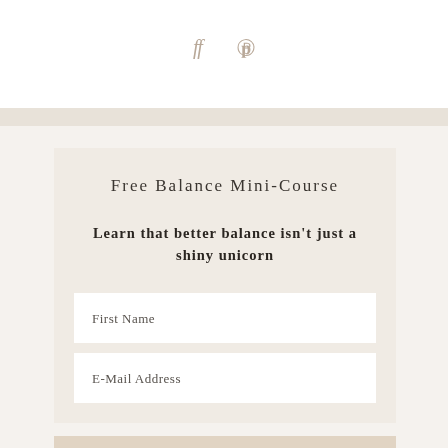[Figure (other): Social media icons for Facebook (f) and Pinterest (p) in tan/beige color]
Free Balance Mini-Course
Learn that better balance isn't just a shiny unicorn
First Name
E-Mail Address